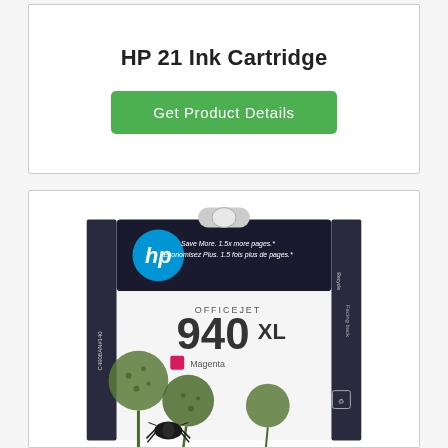HP 21 Ink Cartridge
Get Product Details
[Figure (photo): HP Officejet 940XL Magenta ink cartridge product packaging photo, showing the HP logo, cartridge model number 940XL, color label Magenta, with green plant background and a beetle insect]